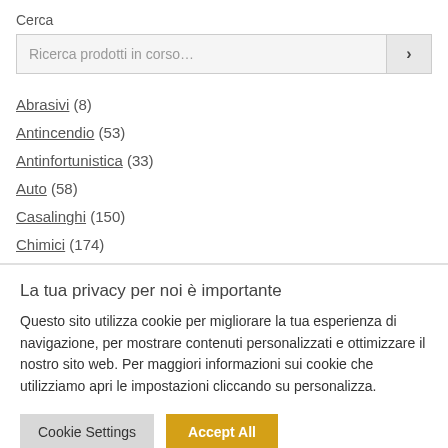Cerca
Ricerca prodotti in corso…
Abrasivi (8)
Antincendio (53)
Antinfortunistica (33)
Auto (58)
Casalinghi (150)
Chimici (174)
La tua privacy per noi è importante
Questo sito utilizza cookie per migliorare la tua esperienza di navigazione, per mostrare contenuti personalizzati e ottimizzare il nostro sito web. Per maggiori informazioni sui cookie che utilizziamo apri le impostazioni cliccando su personalizza.
Cookie Settings | Accept All